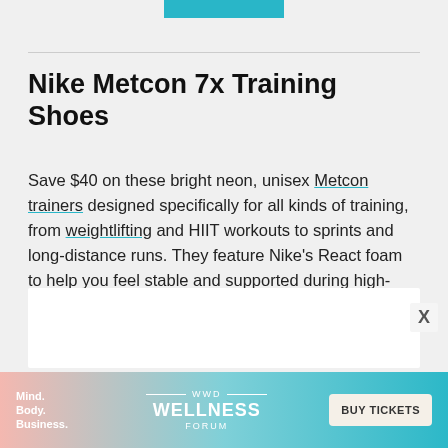Nike Metcon 7x Training Shoes
Save $40 on these bright neon, unisex Metcon trainers designed specifically for all kinds of training, from weightlifting and HIIT workouts to sprints and long-distance runs. They feature Nike’s React foam to help you feel stable and supported during high-intensity cardio and while lifting weights. A tab down the center of the shoe secures your laces, so you never have to worry about them coming untied.
[Figure (other): Advertisement banner for WWD Wellness Forum with 'Mind. Body. Business.' text on left and 'BUY TICKETS' button on right]